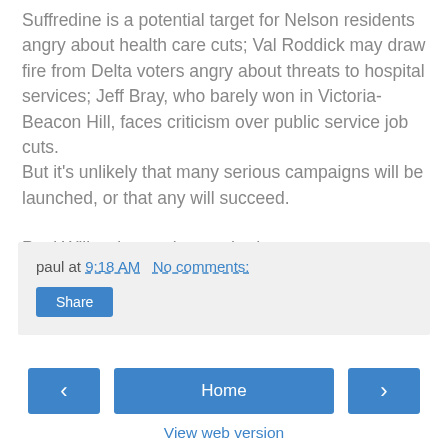Suffredine is a potential target for Nelson residents angry about health care cuts; Val Roddick may draw fire from Delta voters angry about threats to hospital services; Jeff Bray, who barely won in Victoria-Beacon Hill, faces criticism over public service job cuts.
But it's unlikely that many serious campaigns will be launched, or that any will succeed.

Paul Willcocks can be reached at willcocks@ultranet.ca
paul at 9:18 AM   No comments:
Share
‹
Home
›
View web version
Powered by Blogger.